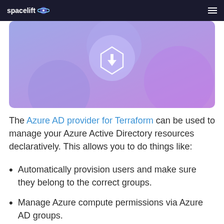spacelift
[Figure (illustration): Purple gradient hero banner with a circular icon showing a download/terraform symbol in the center, decorative circles in the background.]
The Azure AD provider for Terraform can be used to manage your Azure Active Directory resources declaratively. This allows you to do things like:
Automatically provision users and make sure they belong to the correct groups.
Manage Azure compute permissions via Azure AD groups.